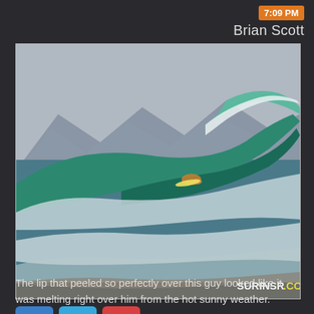7:09 PM
Brian Scott
[Figure (photo): Surfer riding inside a large green barreling wave with white foam and spray. Mountains visible in the misty background. SURFNSR.COM watermark in bottom right corner.]
The lip that peeled so perfectly over this guy looked like it was melting right over him from the hot sunny weather.